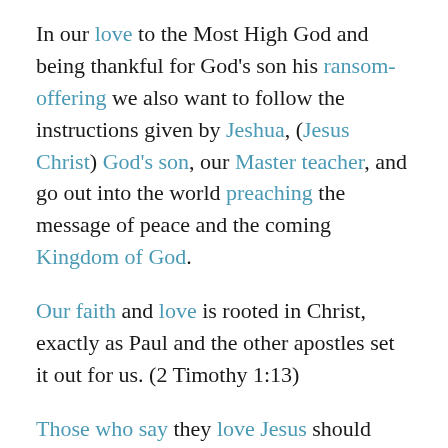In our love to the Most High God and being thankful for God's son his ransom-offering we also want to follow the instructions given by Jeshua, (Jesus Christ) God's son, our Master teacher, and go out into the world preaching the message of peace and the coming Kingdom of God.
Our faith and love is rooted in Christ, exactly as Paul and the other apostles set it out for us. (2 Timothy 1:13)
Those who say they love Jesus should carefully keep his word and remember what Jesus said about him and his heavenly Father. The message Jesus brought was not his message because he is not God himself. If Jesus is God, it would have been his message. Jeshua (Jesus Christ) who also said he could not do anything without his Father said he brought the message of the Father who sent him. The Father is the goal and purpose of Jesus his life and should